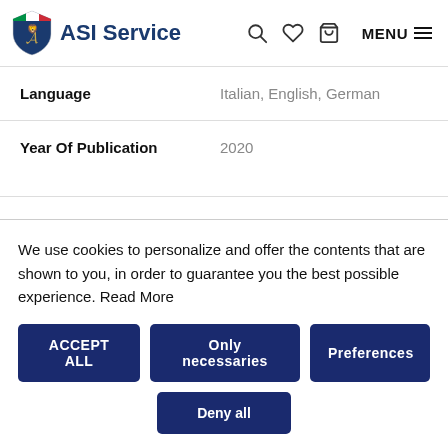ASI Service
|  |  |
| --- | --- |
| Language | Italian, English, German |
| Year Of Publication | 2020 |
We use cookies to personalize and offer the contents that are shown to you, in order to guarantee you the best possible experience. Read More
ACCEPT ALL | Only necessaries | Preferences | Deny all